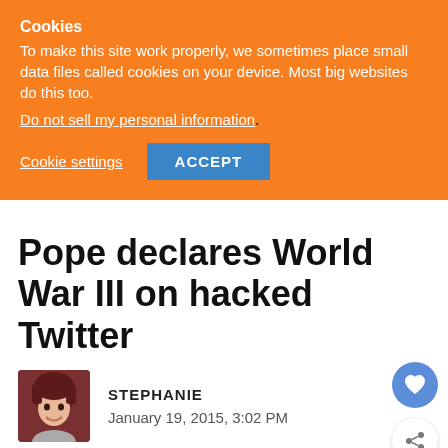Cookies
To make this site work properly, we sometimes place small data files called cookies on your device. Most big websites do this too.
Do not sell my personal information.
Cookie settings   ACCEPT
Pope declares World War III on hacked Twitter
STEPHANIE
January 19, 2015, 3:02 PM
Sharing is caring!